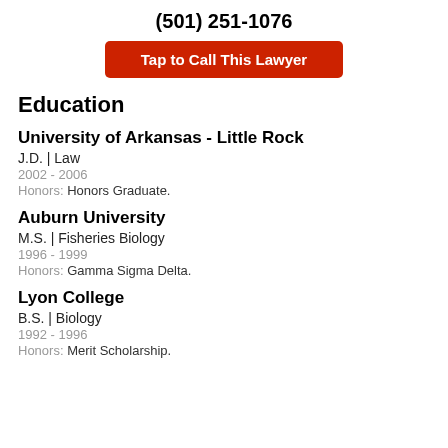(501) 251-1076
Tap to Call This Lawyer
Education
University of Arkansas - Little Rock
J.D.  |  Law
2002 - 2006
Honors: Honors Graduate.
Auburn University
M.S.  |  Fisheries Biology
1996 - 1999
Honors: Gamma Sigma Delta.
Lyon College
B.S.  |  Biology
1992 - 1996
Honors: Merit Scholarship.